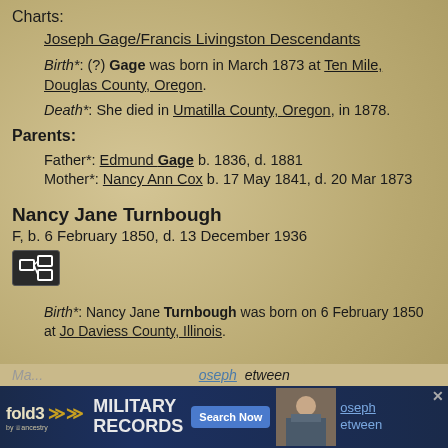Charts:
Joseph Gage/Francis Livingston Descendants
Birth*: (?) Gage was born in March 1873 at Ten Mile, Douglas County, Oregon.
Death*: She died in Umatilla County, Oregon, in 1878.
Parents:
Father*: Edmund Gage b. 1836, d. 1881
Mother*: Nancy Ann Cox b. 17 May 1841, d. 20 Mar 1873
Nancy Jane Turnbough
F, b. 6 February 1850, d. 13 December 1936
Birth*: Nancy Jane Turnbough was born on 6 February 1850 at Jo Daviess County, Illinois.
Ma... Joseph ...etween
[Figure (screenshot): Fold3 Military Records advertisement banner with Search Now button and soldier photo]